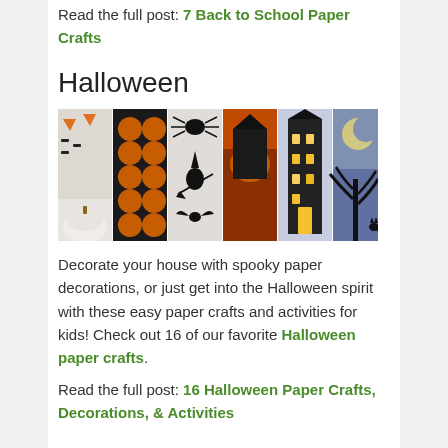Read the full post: 7 Back to School Paper Crafts
Halloween
[Figure (photo): Collage of six Halloween paper craft panels: white pumpkin with orange cut-outs, orange circles on dark background, black silhouettes of spider/witch/bat on gray, orange Halloween scene with pumpkin, lit haunted house with yellow windows, and blue night sky with tree silhouette and cat.]
Decorate your house with spooky paper decorations, or just get into the Halloween spirit with these easy paper crafts and activities for kids! Check out 16 of our favorite Halloween paper crafts.
Read the full post: 16 Halloween Paper Crafts, Decorations, & Activities